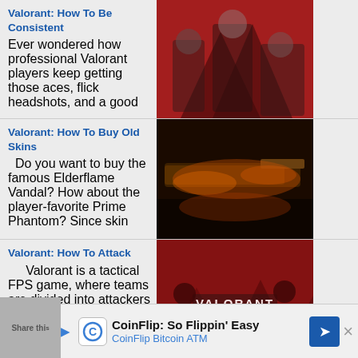Valorant: How To Be Consistent
Ever wondered how professional Valorant players keep getting those aces, flick headshots, and a good
[Figure (photo): Valorant characters in red-themed environment]
Valorant: How To Buy Old Skins
Do you want to buy the famous Elderflame Vandal? How about the player-favorite Prime Phantom? Since skin
[Figure (photo): Dark Valorant weapon skin with fire effects]
Valorant: How To Attack
Valorant is a tactical FPS game, where teams are divided into attackers and defenders. The attacking side has the
[Figure (photo): Valorant logo with characters on red background]
Valorant: How To Activate Contract
Valorant agents can be
[Figure (photo): Dark blue Valorant scene]
Share this
CoinFlip: So Flippin' Easy
CoinFlip Bitcoin ATM